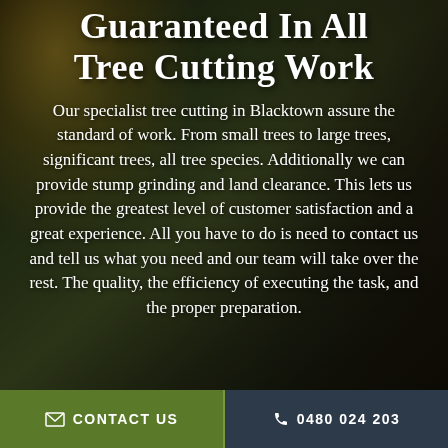Guaranteed In All Tree Cutting Work
Our specialist tree cutting in Blacktown assure the standard of work. From small trees to large trees, significant trees, all tree species. Additionally we can provide stump grinding and land clearance. This lets us provide the greatest level of customer satisfaction and a great experience. All you have to do is need to contact us and tell us what you need and our team will take over the rest. The quality, the efficiency of executing the task, and the proper preparation.
✉ CONTACT US   ✆ 0480 024 203